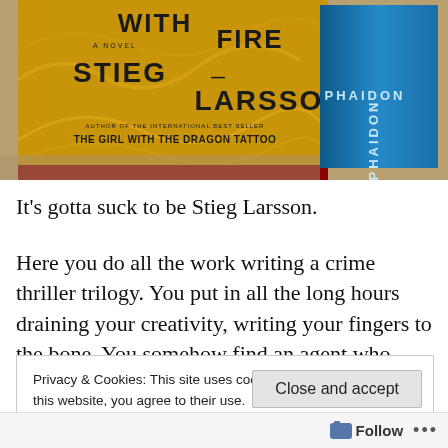[Figure (photo): A photograph of a book 'The Girl Who Played with Fire' by Stieg Larsson with a golden yellow cover, stacked with a blue Phaidon book in the background.]
It’s gotta suck to be Stieg Larsson.
Here you do all the work writing a crime thriller trilogy. You put in all the long hours draining your creativity, writing your fingers to the bone. You somehow find an agent who
Privacy & Cookies: This site uses cookies. By continuing to use this website, you agree to their use.
To find out more, including how to control cookies, see here: Cookie Policy
Close and accept
Follow